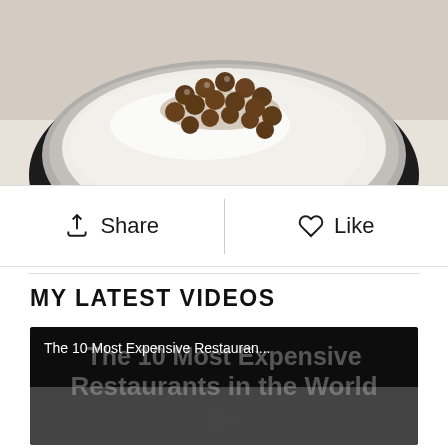[Figure (photo): Food photo showing a bowl with white creamy hummus topped with brown chickpeas, served in a dark bowl on a white/beige background]
Share   Like
MY LATEST VIDEOS
[Figure (screenshot): Video thumbnail for 'The 10 Most Expensive Restaurants in the World' with a play button overlay]